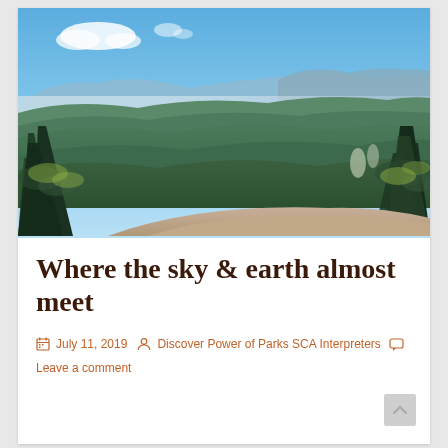[Figure (photo): Panoramic mountain view from a rocky summit, with dense green forested valleys, rolling mountains in the background, and conifer trees framing both sides, under a bright blue sky with a few clouds.]
Where the sky & earth almost meet
July 11, 2019   Discover Power of Parks SCA Interpreters   Leave a comment